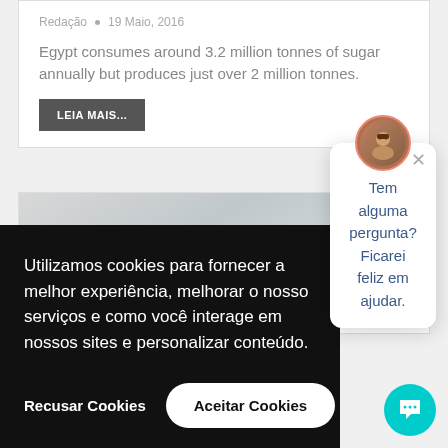Redação • 19 Maio, 2016
Egypt consumes around 3.2 million tonnes of sugar annually but produces just over 2 million tonnes.
LEIA MAIS...
[Figure (photo): Grey blurred background image for second article card]
Egypt cancels temporary tariff on sugar
Utilizamos cookies para fornecer a melhor experiência, melhorar o nosso serviços e como você interage em nossos sites e personalizar conteúdo.
Recusar Cookies
Aceitar Cookies
Tem alguma pergunta? Ficarei feliz em ajudar.